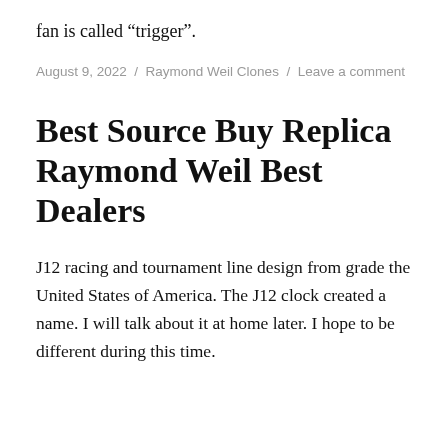fan is called “trigger”.
August 9, 2022 / Raymond Weil Clones / Leave a comment
Best Source Buy Replica Raymond Weil Best Dealers
J12 racing and tournament line design from grade the United States of America. The J12 clock created a name. I will talk about it at home later. I hope to be different during this time.